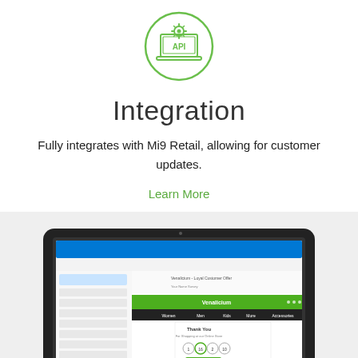[Figure (illustration): Green circular icon with an API laptop/computer symbol inside]
Integration
Fully integrates with Mi9 Retail, allowing for customer updates.
Learn More
[Figure (screenshot): Screenshot of an email client (Outlook) with a Venalicium retail website shown in an embedded browser panel, displaying Women, Men, Kids, More, Accessories navigation and a Thank You page.]